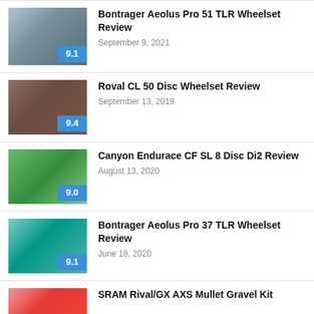Bontrager Aeolus Pro 51 TLR Wheelset Review
Roval CL 50 Disc Wheelset Review
Canyon Endurace CF SL 8 Disc Di2 Review
Bontrager Aeolus Pro 37 TLR Wheelset Review
SRAM Rival/GX AXS Mullet Gravel Kit